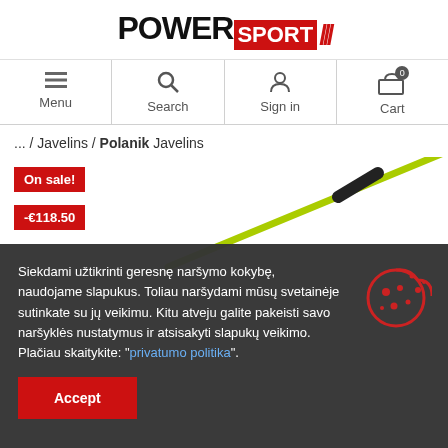[Figure (logo): PowerSport logo with red SPORT badge and red slashes]
[Figure (screenshot): Navigation bar with Menu, Search, Sign in, Cart icons]
... / Javelins / Polanik Javelins
[Figure (photo): Yellow-green javelin with black grip on white background, with On sale! badge in red and -€118.50 discount badge in red]
Siekdami užtikrinti geresnę naršymo kokybę, naudojame slapukus. Toliau naršydami mūsų svetainėje sutinkate su jų veikimu. Kitu atveju galite pakeisti savo naršyklės nustatymus ir atsisakyti slapukų veikimo. Plačiau skaitykite: "privatumo politika".
Accept